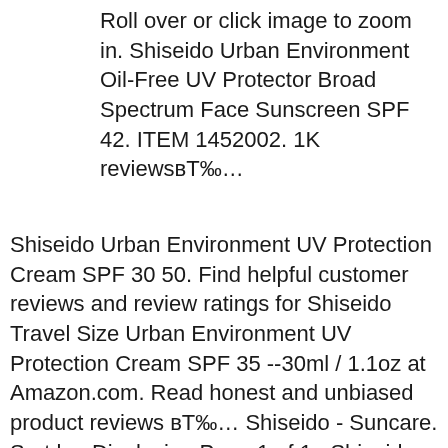Roll over or click image to zoom in. Shiseido Urban Environment Oil-Free UV Protector Broad Spectrum Face Sunscreen SPF 42. ITEM 1452002. 1K reviewsвЂ¦
Shiseido Urban Environment UV Protection Cream SPF 30 50. Find helpful customer reviews and review ratings for Shiseido Travel Size Urban Environment UV Protection Cream SPF 35 --30ml / 1.1oz at Amazon.com. Read honest and unbiased product reviews вЂ¦ Shiseido - Suncare. Sort by: Displaying Page 1 of 1 . Shiseido WetForce Expert Sun Aging Protection Cream SPF30 50ml Shiseido Urban